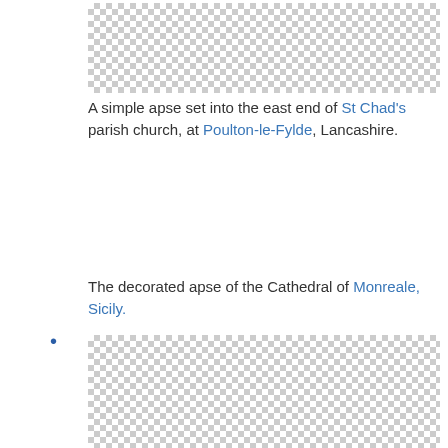[Figure (photo): Checkerboard placeholder image representing a simple apse set into the east end of St Chad's parish church]
A simple apse set into the east end of St Chad's parish church, at Poulton-le-Fylde, Lancashire.
[Figure (photo): Checkerboard placeholder image representing the decorated apse of the Cathedral of Monreale, Sicily]
The decorated apse of the Cathedral of Monreale, Sicily.
[Figure (photo): Photograph of a white church building with a rounded apse, dark roof, and tower, with other buildings visible in the background]